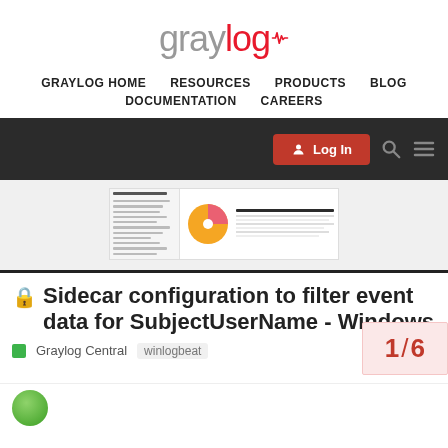[Figure (logo): Graylog logo: 'gray' in gray and 'log' in red with a heartbeat/pulse icon]
GRAYLOG HOME   RESOURCES   PRODUCTS   BLOG   DOCUMENTATION   CAREERS
[Figure (screenshot): Dark navigation bar with red Log In button, search icon, and hamburger menu. Below: a screenshot of Graylog interface showing Quick Values for http_status with a pie chart (orange and pink) and a data table.]
Sidecar configuration to filter event data for SubjectUserName - Windows
Graylog Central   winlogbeat
1 / 6